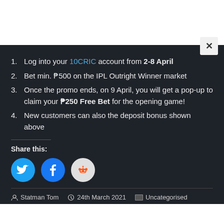Log into your 10CRIC account from 2-8 April
Bet min. ₱500 on the IPL Outright Winner market
Once the promo ends, on 9 April, you will get a pop-up to claim your ₱250 Free Bet for the opening game!
New customers can also the deposit bonus shown above
Share this:
Statman Tom  24th March 2021  Uncategorised